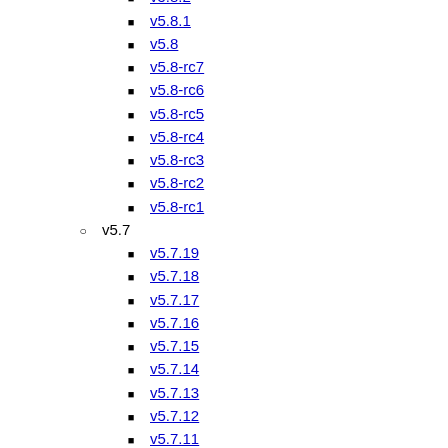v5.8.3
v5.8.2
v5.8.1
v5.8
v5.8-rc7
v5.8-rc6
v5.8-rc5
v5.8-rc4
v5.8-rc3
v5.8-rc2
v5.8-rc1
v5.7
v5.7.19
v5.7.18
v5.7.17
v5.7.16
v5.7.15
v5.7.14
v5.7.13
v5.7.12
v5.7.11
v5.7.10
v5.7.9
v5.7.8
v5.7.7